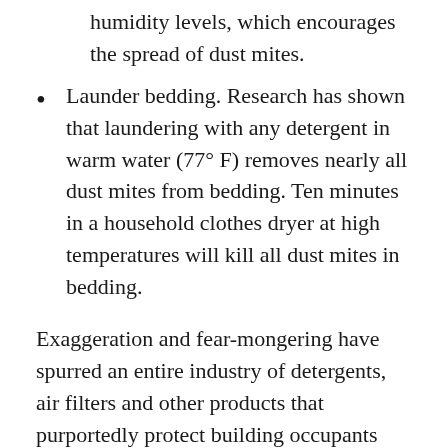humidity levels, which encourages the spread of dust mites.
Launder bedding. Research has shown that laundering with any detergent in warm water (77° F) removes nearly all dust mites from bedding. Ten minutes in a household clothes dryer at high temperatures will kill all dust mites in bedding.
Exaggeration and fear-mongering have spurred an entire industry of detergents, air filters and other products that purportedly protect building occupants against dust mites, which are harmless to those who are not allergic. These products often don't work